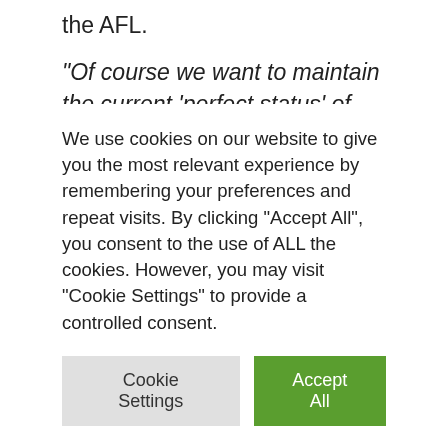the AFL.
“Of course we want to maintain the current ‘perfect status’ of the AFL,” said Dacia Vikings head coach Chris Calaycay. “Including the CEFL clash, this is the third game with the Raiders this year, and we assume it will not be the last in 2021. We know that Sunday’s game is not only about our sheer record, but also about first place.
We use cookies on our website to give you the most relevant experience by remembering your preferences and repeat visits. By clicking “Accept All”, you consent to the use of ALL the cookies. However, you may visit "Cookie Settings" to provide a controlled consent.
Cookie Settings | Accept All